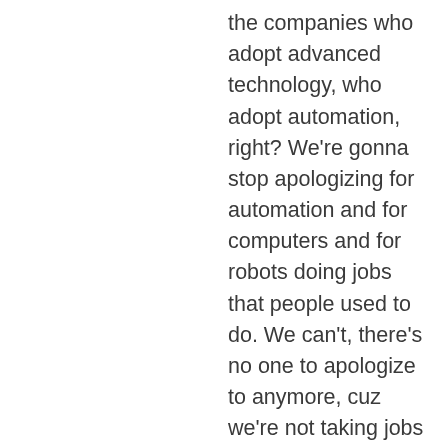the companies who adopt advanced technology, who adopt automation, right? We're gonna stop apologizing for automation and for computers and for robots doing jobs that people used to do. We can't, there's no one to apologize to anymore, cuz we're not taking jobs away from people for that. Mm-hmm <affirmative>. So this kind of automation and augmentation of the human aspect of the business is, is going to be much, much more prominent. And frankly expected of, of this new workforce as we transition dramatically and nearly as